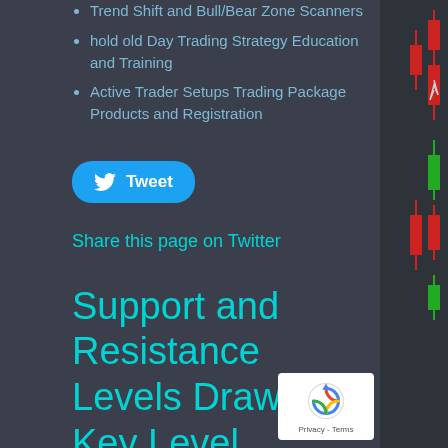Trend Shift and Bull/Bear Zone Scanners
hold old Day Trading Strategy Education and Training
Active Trader Setups Trading Package Products and Registration
[Figure (other): Tweet button with Twitter bird icon]
Share this page on Twitter
Support and Resistance Levels Draw, Key Level Markers
[Figure (other): reCAPTCHA badge with Google logo, Privacy and Terms links]
[Figure (other): Stock chart candlestick panel on the right side showing red and green candles]